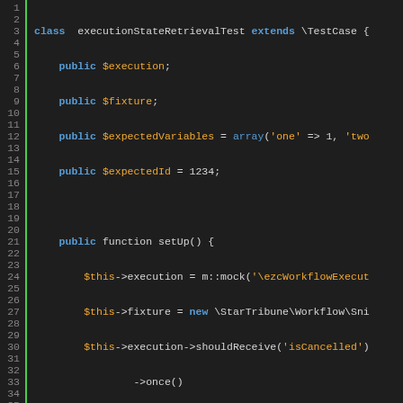[Figure (screenshot): PHP source code showing a test class executionStateRetrievalTest extending TestCase, with setUp method mocking execution object and test methods testIsCancelled, testHasEnded]